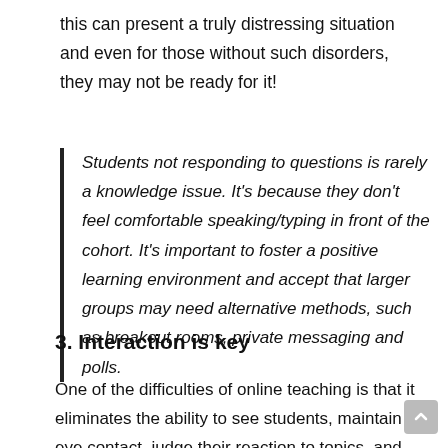this can present a truly distressing situation and even for those without such disorders, they may not be ready for it!
Students not responding to questions is rarely a knowledge issue. It's because they don't feel comfortable speaking/typing in front of the cohort. It's important to foster a positive learning environment and accept that larger groups may need alternative methods, such as breakout rooms, private messaging and polls.
3. Interaction is key
One of the difficulties of online teaching is that it eliminates the ability to see students, maintain eye contact, judge their reaction to topics, and so on